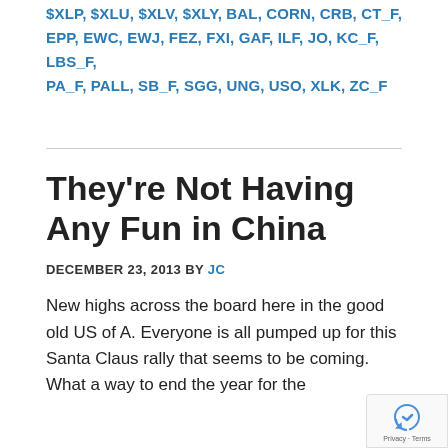$XLP, $XLU, $XLV, $XLY, BAL, CORN, CRB, CT_F, EPP, EWC, EWJ, FEZ, FXI, GAF, ILF, JO, KC_F, LBS_F, PA_F, PALL, SB_F, SGG, UNG, USO, XLK, ZC_F
They're Not Having Any Fun in China
DECEMBER 23, 2013 BY JC
New highs across the board here in the good old US of A. Everyone is all pumped up for this Santa Claus rally that seems to be coming. What a way to end the year for the